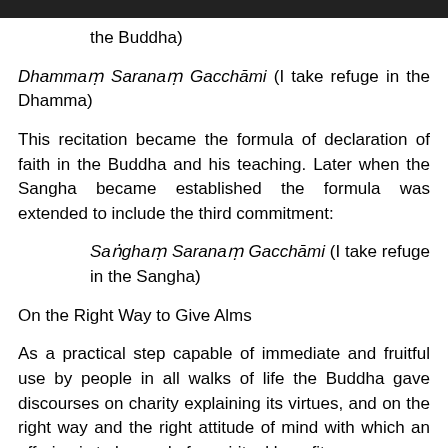the Buddha)
Dhammaṃ Saranaṃ Gacchāmi (I take refuge in the Dhamma)
This recitation became the formula of declaration of faith in the Buddha and his teaching. Later when the Sangha became established the formula was extended to include the third commitment:
Saṅghaṃ Saranaṃ Gacchāmi (I take refuge in the Sangha)
On the Right Way to Give Alms
As a practical step capable of immediate and fruitful use by people in all walks of life the Buddha gave discourses on charity explaining its virtues, and on the right way and the right attitude of mind with which an offering is to be made for spiritual benefit.